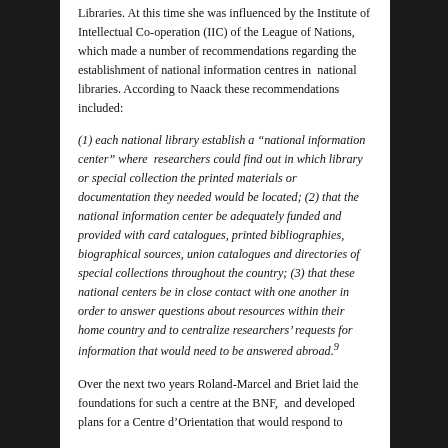Libraries. At this time she was influenced by the Institute of Intellectual Co-operation (IIC) of the League of Nations, which made a number of recommendations regarding the establishment of national information centres in national libraries. According to Naack these recommendations included:
(1) each national library establish a "national information center" where researchers could find out in which library or special collection the printed materials or documentation they needed would be located; (2) that the national information center be adequately funded and provided with card catalogues, printed bibliographies, biographical sources, union catalogues and directories of special collections throughout the country; (3) that these national centers be in close contact with one another in order to answer questions about resources within their home country and to centralize researchers' requests for information that would need to be answered abroad.⁹
Over the next two years Roland-Marcel and Briet laid the foundations for such a centre at the BNF, and developed plans for a Centre d'Orientation that would respond to